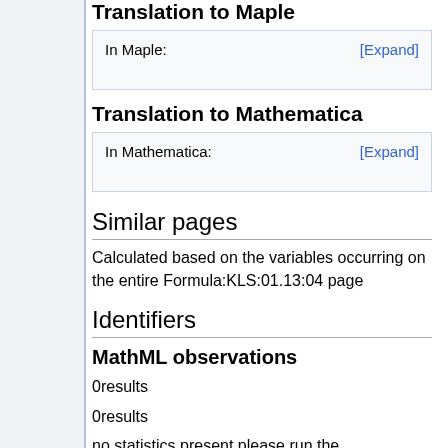Translation to Maple
In Maple:   [Expand]
Translation to Mathematica
In Mathematica:   [Expand]
Similar pages
Calculated based on the variables occurring on the entire Formula:KLS:01.13:04 page
Identifiers
MathML observations
0results
0results
no statistics present please run the